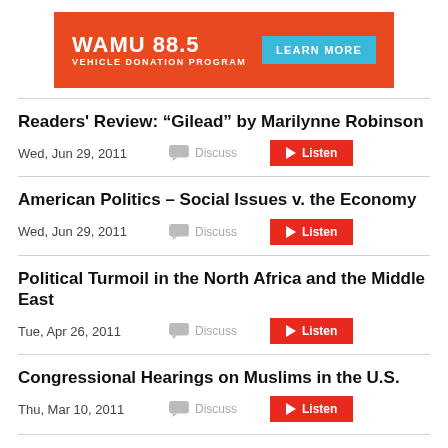[Figure (other): WAMU 88.5 Vehicle Donation Program advertisement banner with orange background and 'Learn More' button]
Readers' Review: “Gilead” by Marilynne Robinson
Wed, Jun 29, 2011
American Politics – Social Issues v. the Economy
Wed, Jun 29, 2011
Political Turmoil in the North Africa and the Middle East
Tue, Apr 26, 2011
Congressional Hearings on Muslims in the U.S.
Thu, Mar 10, 2011